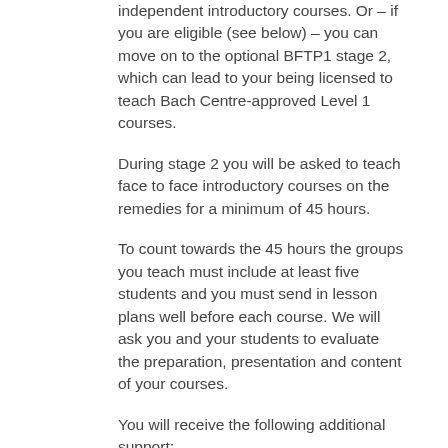independent introductory courses. Or – if you are eligible (see below) – you can move on to the optional BFTP1 stage 2, which can lead to your being licensed to teach Bach Centre-approved Level 1 courses.
During stage 2 you will be asked to teach face to face introductory courses on the remedies for a minimum of 45 hours.
To count towards the 45 hours the groups you teach must include at least five students and you must send in lesson plans well before each course. We will ask you and your students to evaluate the preparation, presentation and content of your courses.
You will receive the following additional support:
• Feedback from an experienced teacher-training mentor, who will help you plan your lessons and discuss any issues and challenges you meet as you start to teach the remedies.
• Supplementary materials, such as evaluation and assessment forms.
No additional charge will be made for this support or for